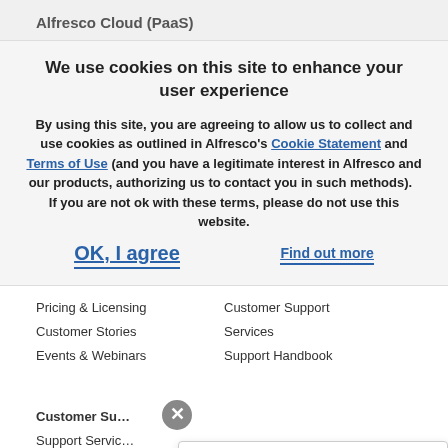Alfresco Cloud (PaaS)
We use cookies on this site to enhance your user experience
By using this site, you are agreeing to allow us to collect and use cookies as outlined in Alfresco’s Cookie Statement and Terms of Use (and you have a legitimate interest in Alfresco and our products, authorizing us to contact you in such methods).   If you are not ok with these terms, please do not use this website.
OK, I agree
Find out more
Pricing & Licensing
Customer Stories
Events & Webinars
Customer Support
Services
Support Handbook
Customer Su…
Support Servic…
Premier Services
Welcome to Alfresco! What brought you here to check us out?